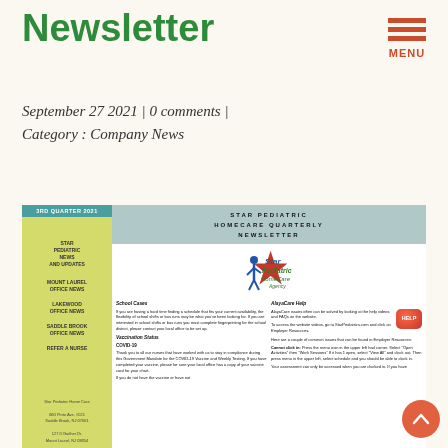Newsletter
September 27 2021 | 0 comments | Category : Company News
[Figure (screenshot): Star Pediatric Homecare Quarterly Newsletter embed showing sidebar navigation with links (Star Pediatric News and Updates, Mount Laurel Office News, Lakewood Office News, Saddle Brook Office News, Refer A Nurse), logo, and two-column newsletter content about School Cases, Vaccination Status/COVID-19, and AlayaCare Help.]